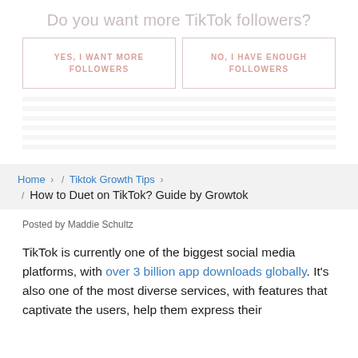Do you want more TikTok followers?
YES, I WANT MORE FOLLOWERS
NO, I HAVE ENOUGH FOLLOWERS
Home › / Tiktok Growth Tips › / How to Duet on TikTok? Guide by Growtok
Posted by Maddie Schultz
TikTok is currently one of the biggest social media platforms, with over 3 billion app downloads globally. It's also one of the most diverse services, with features that captivate the users, help them express their